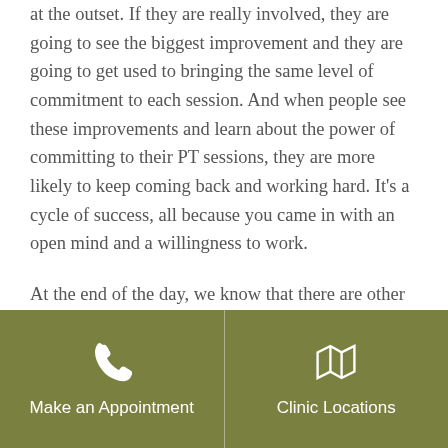at the outset. If they are really involved, they are going to see the biggest improvement and they are going to get used to bringing the same level of commitment to each session. And when people see these improvements and learn about the power of committing to their PT sessions, they are more likely to keep coming back and working hard. It's a cycle of success, all because you came in with an open mind and a willingness to work.
At the end of the day, we know that there are other things you'd probably rather be doing than physical therapy, but if you don't commit to a PT routine, there may be some things you'll never be able to do again.
[Figure (infographic): Olive/khaki green footer bar with two sections separated by a vertical line. Left section has a phone icon and text 'Make an Appointment'. Right section has a map icon and text 'Clinic Locations'.]